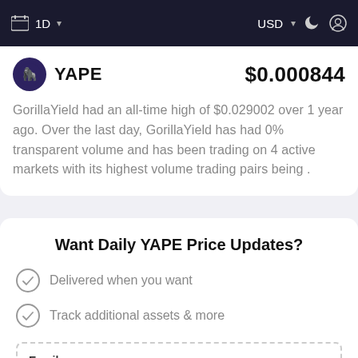1D  USD
YAPE  $0.000844
GorillaYield had an all-time high of $0.029002 over 1 year ago. Over the last day, GorillaYield has had 0% transparent volume and has been trading on 4 active markets with its highest volume trading pairs being .
Want Daily YAPE Price Updates?
Delivered when you want
Track additional assets & more
Email